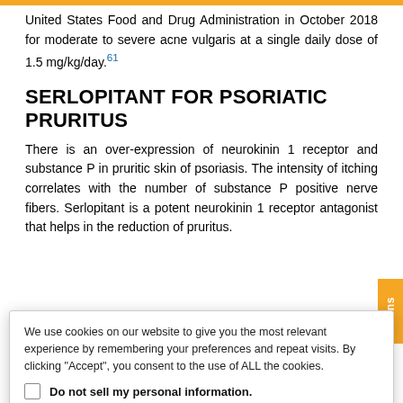United States Food and Drug Administration in October 2018 for moderate to severe acne vulgaris at a single daily dose of 1.5 mg/kg/day.61
SERLOPITANT FOR PSORIATIC PRURITUS
There is an over-expression of neurokinin 1 receptor and substance P in pruritic skin of psoriasis. The intensity of itching correlates with the number of substance P positive nerve fibers. Serlopitant is a potent neurokinin 1 receptor antagonist that helps in the reduction of pruritus.
We use cookies on our website to give you the most relevant experience by remembering your preferences and repeat visits. By clicking “Accept”, you consent to the use of ALL the cookies.
Do not sell my personal information.